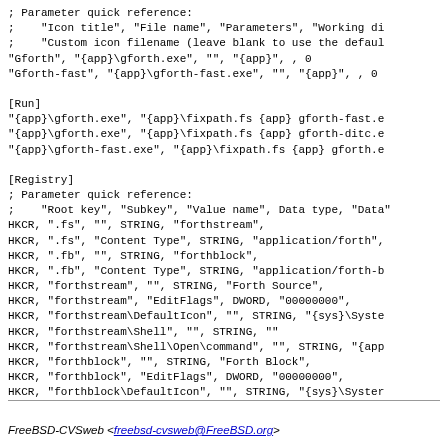; Parameter quick reference:
;    "Icon title", "File name", "Parameters", "Working di
;    "Custom icon filename (leave blank to use the defaul
"Gforth", "{app}\gforth.exe", "", "{app}", , 0
"Gforth-fast", "{app}\gforth-fast.exe", "", "{app}", , 0

[Run]
"{app}\gforth.exe", "{app}\fixpath.fs {app} gforth-fast.e
"{app}\gforth.exe", "{app}\fixpath.fs {app} gforth-ditc.e
"{app}\gforth-fast.exe", "{app}\fixpath.fs {app} gforth.e

[Registry]
; Parameter quick reference:
;    "Root key", "Subkey", "Value name", Data type, "Data
HKCR, ".fs", "", STRING, "forthstream",
HKCR, ".fs", "Content Type", STRING, "application/forth",
HKCR, ".fb", "", STRING, "forthblock",
HKCR, ".fb", "Content Type", STRING, "application/forth-b
HKCR, "forthstream", "", STRING, "Forth Source",
HKCR, "forthstream", "EditFlags", DWORD, "00000000",
HKCR, "forthstream\DefaultIcon", "", STRING, "{sys}\Syste
HKCR, "forthstream\Shell", "", STRING, ""
HKCR, "forthstream\Shell\Open\command", "", STRING, "{app
HKCR, "forthblock", "", STRING, "Forth Block",
HKCR, "forthblock", "EditFlags", DWORD, "00000000",
HKCR, "forthblock\DefaultIcon", "", STRING, "{sys}\Syster
EOT
FreeBSD-CVSweb <freebsd-cvsweb@FreeBSD.org>